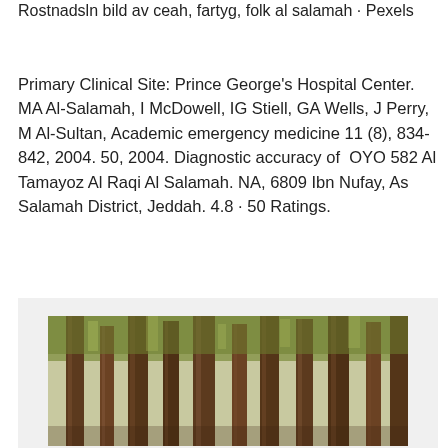Rostnadsln bild av ceah, fartyg, folk al salamah · Pexels
Primary Clinical Site: Prince George's Hospital Center. MA Al-Salamah, I McDowell, IG Stiell, GA Wells, J Perry, M Al-Sultan, Academic emergency medicine 11 (8), 834-842, 2004. 50, 2004. Diagnostic accuracy of OYO 582 Al Tamayoz Al Raqi Al Salamah. NA, 6809 Ibn Nufay, As Salamah District, Jeddah. 4.8 · 50 Ratings.
[Figure (photo): A photograph of tall pine/redwood trees in a dense forest, with brown trunks and green canopy visible at the top.]